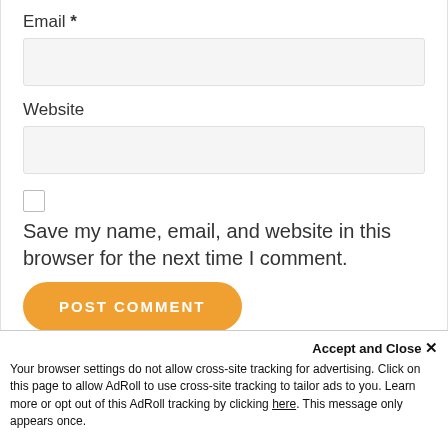Email *
[Figure (screenshot): Empty text input field for Email]
Website
[Figure (screenshot): Empty text input field for Website]
[Figure (screenshot): Unchecked checkbox]
Save my name, email, and website in this browser for the next time I comment.
[Figure (screenshot): POST COMMENT button in orange rounded style]
Accept and Close ✕
Your browser settings do not allow cross-site tracking for advertising. Click on this page to allow AdRoll to use cross-site tracking to tailor ads to you. Learn more or opt out of this AdRoll tracking by clicking here. This message only appears once.